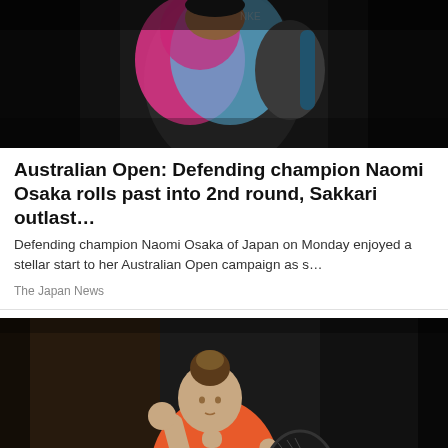[Figure (photo): Tennis player Naomi Osaka in colorful blue and pink Nike outfit holding a racket against a dark background]
Australian Open: Defending champion Naomi Osaka rolls past into 2nd round, Sakkari outlast…
Defending champion Naomi Osaka of Japan on Monday enjoyed a stellar start to her Australian Open campaign as s…
The Japan News
[Figure (photo): Female tennis player in orange Nike shirt holding a racket and making a fist pump gesture against a dark background]